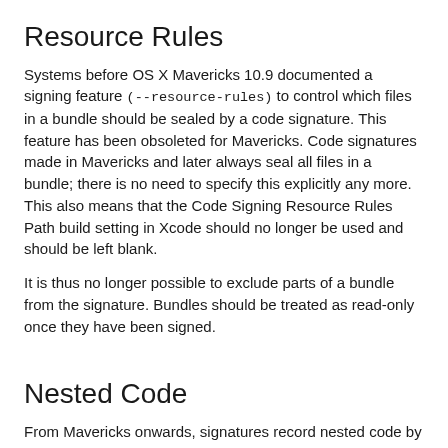Resource Rules
Systems before OS X Mavericks 10.9 documented a signing feature (--resource-rules) to control which files in a bundle should be sealed by a code signature. This feature has been obsoleted for Mavericks. Code signatures made in Mavericks and later always seal all files in a bundle; there is no need to specify this explicitly any more. This also means that the Code Signing Resource Rules Path build setting in Xcode should no longer be used and should be left blank.
It is thus no longer possible to exclude parts of a bundle from the signature. Bundles should be treated as read-only once they have been signed.
Nested Code
From Mavericks onwards, signatures record nested code by its code signature and embed that information in the (outer) signature's resource envelope, recursively. This means that when a code signature is created, all nested code must already be signed correctly or the signing attempt will fail.